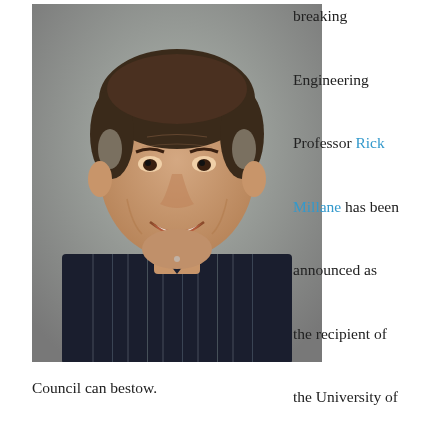[Figure (photo): Headshot photo of a middle-aged man with dark hair, smiling, wearing a dark striped collared shirt, against a grey background.]
breaking Engineering Professor Rick Millane has been announced as the recipient of the University of Canterbury's Research Medal 2018, one of the highest awards the University's Council can bestow.